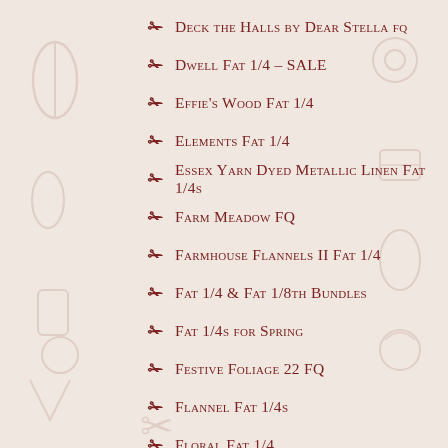Deck the Halls by Dear Stella fq
Dwell Fat 1/4 - SALE
Effie's Wood Fat 1/4
Elements Fat 1/4
Essex Yarn Dyed Metallic Linen Fat 1/4s
Farm Meadow FQ
Farmhouse Flannels II Fat 1/4
Fat 1/4 & Fat 1/8th Bundles
Fat 1/4s for Spring
Festive Foliage 22 FQ
Flannel Fat 1/4s
Floral Fat 1/4